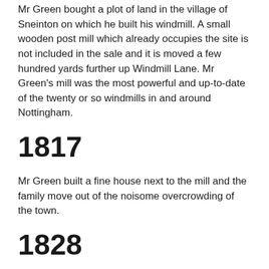Mr Green bought a plot of land in the village of Sneinton on which he built his windmill. A small wooden post mill which already occupies the site is not included in the sale and it is moved a few hundred yards further up Windmill Lane. Mr Green's mill was the most powerful and up-to-date of the twenty or so windmills in and around Nottingham.
1817
Mr Green built a fine house next to the mill and the family move out of the noisome overcrowding of the town.
1828
The year in which George Green produces his first - and most remarkable - scientific paper. A visitor to the mill describes the mill at work: